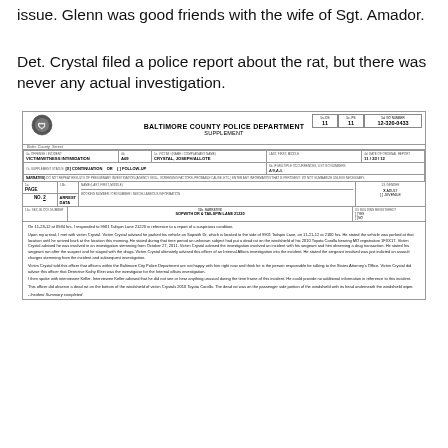issue. Glenn was good friends with the wife of Sgt. Amador.
Det. Crystal filed a police report about the rat, but there was never any actual investigation.
[Figure (other): Baltimore County Police Department Supplement form with header, form fields including offense/incident (VICTIM/WITNESS INTIMIDATION, A69), victim name (CRYSTAL, JOSEPH/ALLOTE), dates, narrative sections, arrest data, and narrative text describing a suspicious condition report on 11-23-12 at 0934 hrs at 9901 Tailspin Lane 21220.]
On 11-23-12 at 0934 hrs, I responded to 9901 Tailspin Lane 21220 in reference to a report of a suspicious condition. Upon my arrival, I met with victim Crystal. Victim Crystal advised he parked his vehicle on Sopwith Dr, which is located to the side of 9901 Tailspin Lane, on 11-21-12 at 2100 hrs. He stated the vehicle was parked at that location until he arrived back at the location this morning. He stated during that time period an unknown subject had put a dead rat on the windshield of his 2010 Toyota Corolla bearing MD registration 1FXX17. Victim Crystal advised he was involved in an investigation stemming from October 27, 2011. Victim Crystal advised the investigation involved an incident with his sergeant and him observing a drug transaction. He stated his sergeant ran after the suspect and he stayed with the drugs. Victim Crystal ultimately advised this officer of an Internal Affairs investigation into the incident. He stated the sergeant involved was just indicted on assault charges stemming from the incident and subsequent investigation. Victim Crystal told this officer that officers within the Baltimore City Police Department are not happy with him right now and think he is the person responsible for talking to the States Attorney's Office. Victim Crystal did advise this officer that Detective Kathy Klein was the investigator for the Internal affairs investigation. I then spoke with interviewee Keller. Interviewee Keller advised that he did not see or hear anything unusual during the time frame of this incident. He could provide no additional information in reference to this incident. This officer did observe a dead rat on the bottom of the windshield of victim Crystals 2010 Toyota Corolla. The dead rat was on the passenger side portion of the windshield with its head underneath the windshield wiper. - Incident Summary completed